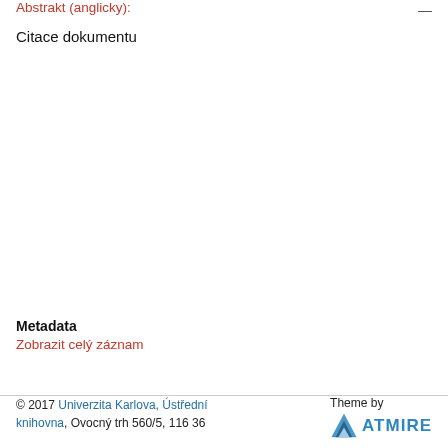Abstrakt (anglicky):
Citace dokumentu
Metadata
Zobrazit celý záznam
© 2017 Univerzita Karlova, Ústřední knihovna, Ovocný trh 560/5, 116 36
Theme by ATMIRE